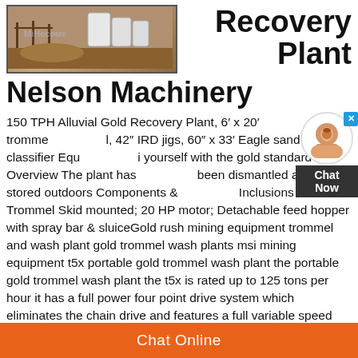[Figure (photo): Outdoor photo of mining/industrial equipment with barrels and structures, with overlay text 'МіНесоме' or similar]
Recovery
Plant
Nelson Machinery
150 TPH Alluvial Gold Recovery Plant, 6′ x 20′ trommel, 42″ IRD jigs, 60″ x 33′ Eagle sand screw classifier Equip yourself with the gold standard Overview The plant has been dismantled and is stored outdoors Components & Inclusions 6′ x 20′ Trommel Skid mounted; 20 HP motor; Detachable feed hopper with spray bar & sluiceGold rush mining equipment trommel and wash plant gold trommel wash plants msi mining equipment t5x portable gold trommel wash plant the portable gold trommel wash plant the t5x is rated up to 125 tons per hour it has a full power four point drive system which eliminates the chain drive and features a full variable speed control gold wash Msi
Chat Online